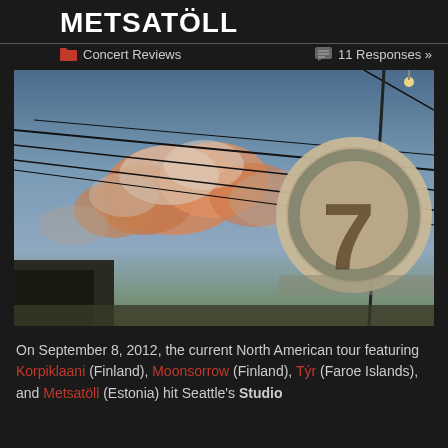METSATÖLL
Concert Reviews  |  11 Responses »
[Figure (photo): Low-angle photograph of a street sign reading 'Studio 7' in a circular frame, with power lines crossing a dramatic dusk sky with orange-pink clouds in the background, and the corner of a dark wooden building visible at lower left.]
On September 8, 2012, the current North American tour featuring Korpiklaani (Finland), Moonsorrow (Finland), Týr (Faroe Islands), and Metsatöll (Estonia) hit Seattle's Studio